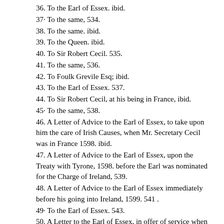36. To the Earl of Essex. ibid.
37· To the same, 534.
38. To the same. ibid.
39. To the Queen. ibid.
40. To Sir Robert Cecil. 535.
41. To the same, 536.
42. To Foulk Grevile Esq; ibid.
43. To the Earl of Essex. 537.
44. To Sir Robert Cecil, at his being in France, ibid.
45· To the same, 538.
46. A Letter of Advice to the Earl of Essex, to take upon him the care of Irish Causes, when Mr. Secretary Cecil was in France 1598. ibid.
47. A Letter of Advice to the Earl of Essex, upon the Treaty with Tyrone, 1598. before the Earl was nominated for the Charge of Ireland, 539.
48. A Letter of Advice to the Earl of Essex immediately before his going into Ireland, 1599. 541 .
49· To the Earl of Essex. 543.
50. A Letter to the Earl of Essex, in offer of service when he was first inlarged to Essex House. p. 543.
51. An Answer of my Lord of Essex to the preceding Letter of Mr. Bacon. 544.
52. To the Earl of Essex. ibid.
53. To the same. ibid.